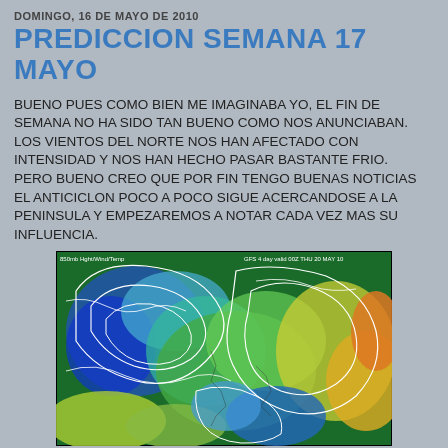DOMINGO, 16 DE MAYO DE 2010
PREDICCION SEMANA 17 MAYO
BUENO PUES COMO BIEN ME IMAGINABA YO, EL FIN DE SEMANA NO HA SIDO TAN BUENO COMO NOS ANUNCIABAN. LOS VIENTOS DEL NORTE NOS HAN AFECTADO CON INTENSIDAD Y NOS HAN HECHO PASAR BASTANTE FRIO.
PERO BUENO CREO QUE POR FIN TENGO BUENAS NOTICIAS EL ANTICICLON POCO A POCO SIGUE ACERCANDOSE A LA PENINSULA Y EMPEZAREMOS A NOTAR CADA VEZ MAS SU INFLUENCIA.
[Figure (map): 850mb Height/Wind/Temp weather map - GFS 4 day valid 00Z THU 20 MAY 10, showing pressure contours and temperature colors over Europe and Atlantic]